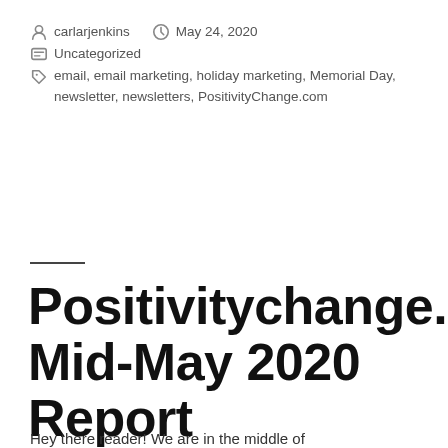carlarjenkins   May 24, 2020
Uncategorized
email, email marketing, holiday marketing, Memorial Day, newsletter, newsletters, PositivityChange.com
Positivitychange.com Mid-May 2020 Report
Hey there reader! We are in the middle of